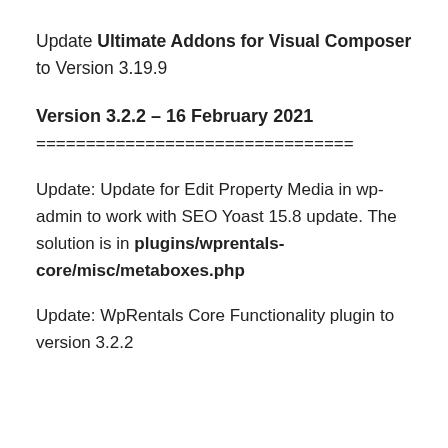Update Ultimate Addons for Visual Composer to Version 3.19.9
Version 3.2.2 – 16 February 2021
================================
Update: Update for Edit Property Media in wp-admin to work with SEO Yoast 15.8 update. The solution is in plugins/wprentals-core/misc/metaboxes.php
Update: WpRentals Core Functionality plugin to version 3.2.2